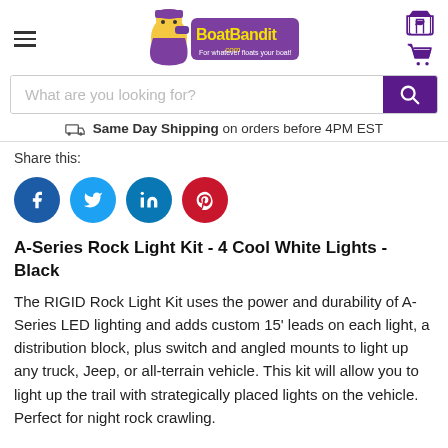BoatBandit.com - For whatever floats your boat!
What are you looking for?
Same Day Shipping on orders before 4PM EST
Share this:
[Figure (infographic): Social share buttons: Facebook (blue circle), Twitter (light blue circle), LinkedIn (teal circle), Pinterest (red circle)]
A-Series Rock Light Kit - 4 Cool White Lights - Black
The RIGID Rock Light Kit uses the power and durability of A-Series LED lighting and adds custom 15' leads on each light, a distribution block, plus switch and angled mounts to light up any truck, Jeep, or all-terrain vehicle. This kit will allow you to light up the trail with strategically placed lights on the vehicle. Perfect for night rock crawling.